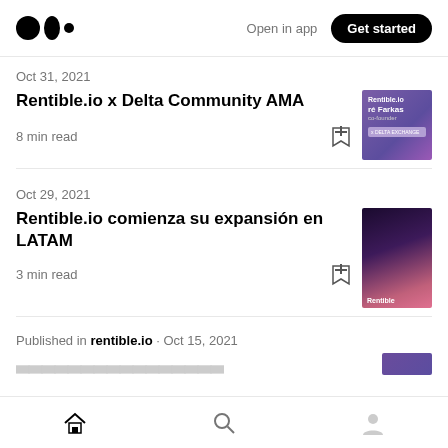Medium logo | Open in app | Get started
Oct 31, 2021
Rentible.io x Delta Community AMA
8 min read
Oct 29, 2021
Rentible.io comienza su expansión en LATAM
3 min read
Published in rentible.io · Oct 15, 2021
Home | Search | Profile